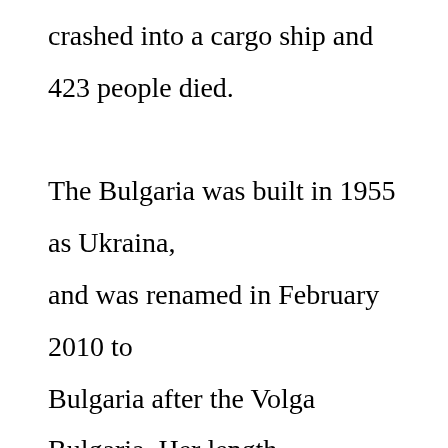crashed into a cargo ship and 423 people died.

The Bulgaria was built in 1955 as Ukraina, and was renamed in February 2010 to Bulgaria after the Volga Bulgaria. Her length was 80.2 metres (263 ft), her beam was 12.5 metres (41 ft), her draft was 1.9 metres (6.2 ft), and her power output was 273 kilowatts (366 hp). She had two engines and two decks. Her cruising speed was 20.5 kilometres per hour (12.7 mph), and her original passenger capacity was 233 (then reduced after